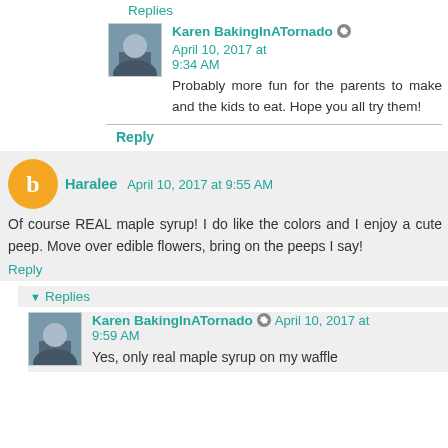Replies
Karen BakingInATornado  April 10, 2017 at 9:34 AM
Probably more fun for the parents to make and the kids to eat. Hope you all try them!
Reply
Haralee  April 10, 2017 at 9:55 AM
Of course REAL maple syrup! I do like the colors and I enjoy a cute peep. Move over edible flowers, bring on the peeps I say!
Reply
Replies
Karen BakingInATornado  April 10, 2017 at 9:59 AM
Yes, only real maple syrup on my waffle